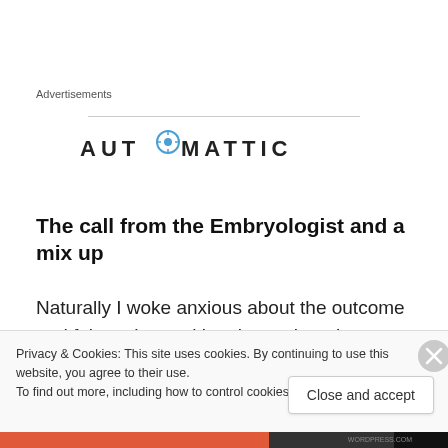Advertisements
[Figure (logo): Automattic logo with compass icon replacing the 'O' in a bold all-caps sans-serif wordmark]
The call from the Embryologist and a mix up
Naturally I woke anxious about the outcome and felt my heart skip a beat when the phone rang at just after 9.30. A
Privacy & Cookies: This site uses cookies. By continuing to use this website, you agree to their use.
To find out more, including how to control cookies, see here: Cookie Policy